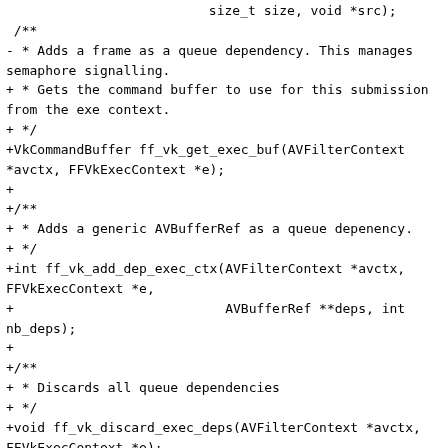size_t size, void *src);
 /**
- * Adds a frame as a queue dependency. This manages semaphore signalling.
+ * Gets the command buffer to use for this submission from the exe context.
+ */
+VkCommandBuffer ff_vk_get_exec_buf(AVFilterContext *avctx, FFVkExecContext *e);
+
+/**
+ * Adds a generic AVBufferRef as a queue depenency.
+ */
+int ff_vk_add_dep_exec_ctx(AVFilterContext *avctx, FFVkExecContext *e,
+                           AVBufferRef **deps, int nb_deps);
+
+/**
+ * Discards all queue dependencies
+ */
+void ff_vk_discard_exec_deps(AVFilterContext *avctx, FFVkExecContext *e);
+
+/**
+ * Adds a frame as a queue dependency. This also manages semaphore signalling.
   * Must be called before submission.
   */
 -int ff_vk_add_exec_dep(AVFilterContext *avctx,